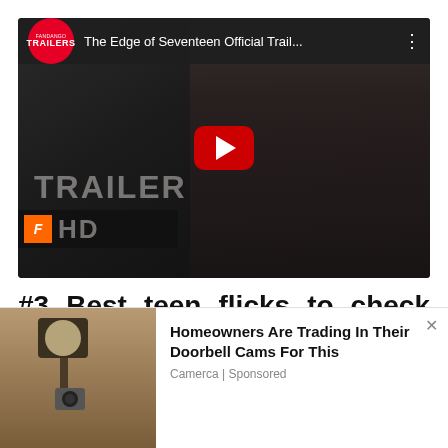[Figure (screenshot): YouTube video thumbnail for 'The Edge of Seventeen Official Trail...' showing a Fandango Trailers badge, video title, a young woman, TRAILER HD text overlay, and a red play button]
#3 Best teen flicks to check out on Netflix: Lady Bird
[Figure (photo): Advertisement photo showing an outdoor wall lamp/security camera on a stone wall]
Homeowners Are Trading In Their Doorbell Cams For This
Camerca | Sponsored